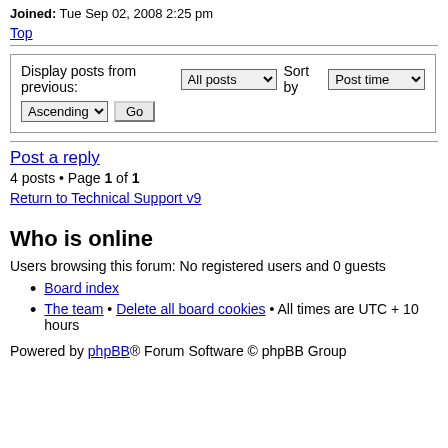Joined: Tue Sep 02, 2008 2:25 pm
Top
Display posts from previous: All posts  Sort by Post time  Ascending  Go
Post a reply
4 posts • Page 1 of 1
Return to Technical Support v9
Who is online
Users browsing this forum: No registered users and 0 guests
Board index
The team • Delete all board cookies • All times are UTC + 10 hours
Powered by phpBB® Forum Software © phpBB Group